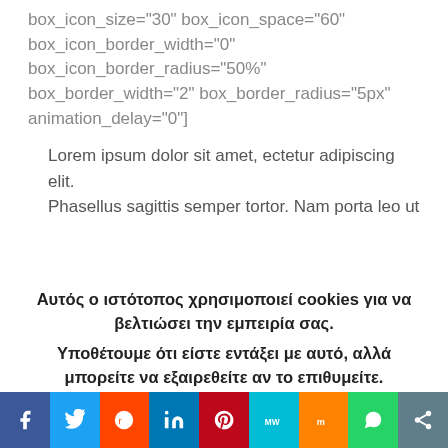box_icon_size="30" box_icon_space="60" box_icon_border_width="0" box_icon_border_radius="50%" box_border_width="2" box_border_radius="5px" animation_delay="0"]
Lorem ipsum dolor sit amet, ectetur adipiscing elit. Phasellus sagittis semper tortor. Nam porta leo ut
Αυτός ο ιστότοπος χρησιμοποιεί cookies για να βελτιώσει την εμπειρία σας.
Υποθέτουμε ότι είστε εντάξει με αυτό, αλλά μπορείτε να εξαιρεθείτε αν το επιθυμείτε.
Cookie settings | Συμφωνώ